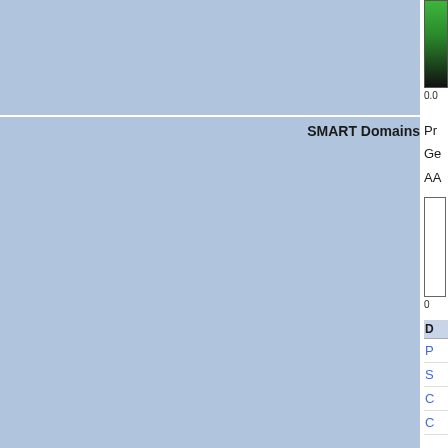[Figure (other): Partial view of a genomics/protein database page showing a color scale bar (green to black) at top right, with scale value 0.0 visible. Below is a SMART Domains row with label text partially visible (Pr, Ge, AA) and another color bar. A DB links table header and blue hyperlinks (P, S, C, C) are partially visible. At bottom is a Predicted Effect row with 'pr' and 'Tra' text visible.]
|  | SMART Domains | ... |
| --- | --- | --- |
|  | SMART Domains | Pr... Ge... AA... |
|  | Predicted Effect | pr... Tra... |